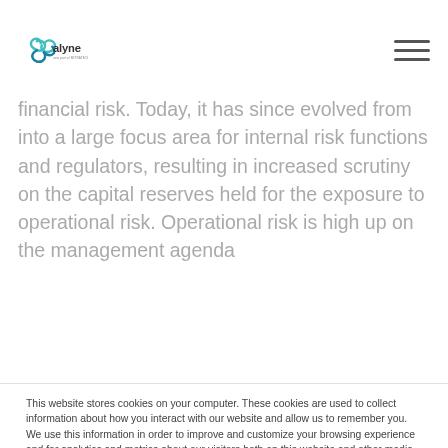[Figure (logo): Alyne logo - now part of MITRATECH, with teal/blue infinity-like symbol]
financial risk. Today, it has since evolved from into a large focus area for internal risk functions and regulators, resulting in increased scrutiny on the capital reserves held for the exposure to operational risk. Operational risk is high up on the management agenda
This website stores cookies on your computer. These cookies are used to collect information about how you interact with our website and allow us to remember you. We use this information in order to improve and customize your browsing experience and for analytics and metrics about our visitors both on this website and other media. To find out more about the cookies we use, see our Privacy Policy.

If you decline, your information won't be tracked when you visit this website. A single cookie will be used in your browser to remember your preference not to be tracked.
Cookie Preferences
Accept
Decline